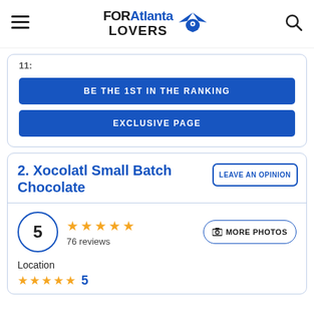FORAtlanta LOVERS
11:
BE THE 1ST IN THE RANKING
EXCLUSIVE PAGE
2. Xocolatl Small Batch Chocolate
LEAVE AN OPINION
5 — 76 reviews — MORE PHOTOS
Location
5